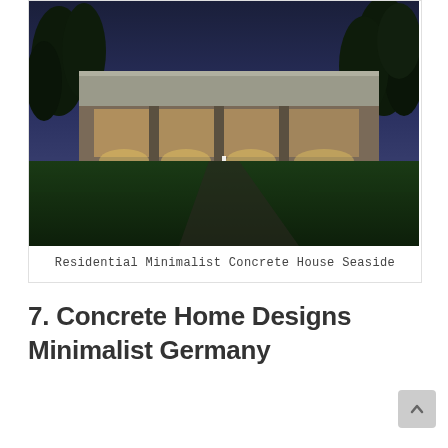[Figure (photo): Nighttime exterior photograph of a minimalist concrete house by the seaside. The building has a long horizontal profile with large windows lit from below by ground-level uplights. Surrounded by trees and a grass lawn in the foreground. Dark blue night sky in the background.]
Residential Minimalist Concrete House Seaside
7. Concrete Home Designs Minimalist Germany